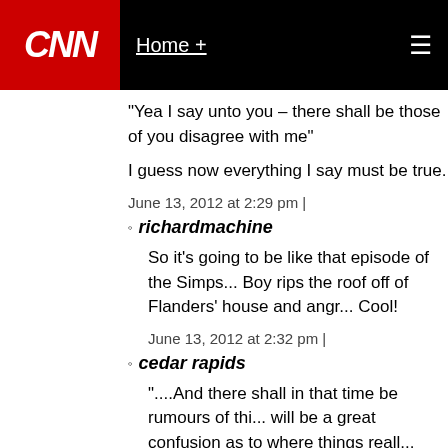CNN | Home +
"Yea I say unto you – there shall be those of you disagree with me"
I guess now everything I say must be true.
June 13, 2012 at 2:29 pm |
richardmachine
So it's going to be like that episode of the Simpsons where Boy rips the roof off of Flanders' house and angr... Cool!
June 13, 2012 at 2:32 pm |
cedar rapids
"....And there shall in that time be rumours of thin... will be a great confusion as to where things reall... really know where lieth those little things with th... that has an attachment...at this time, a friend sha... hammer and the young shall not know where liet...